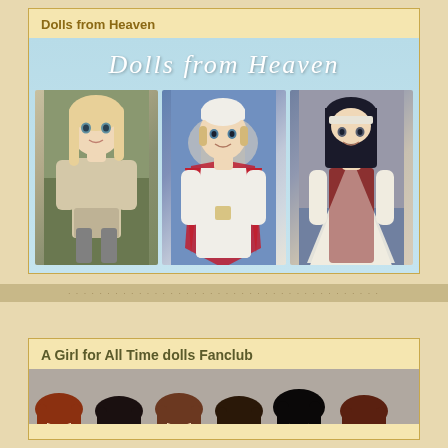Dolls from Heaven
[Figure (photo): Book/product cover for 'Dolls from Heaven' featuring stylized script title text on a light blue background, with three photos of religious-themed dolls: a medieval-style female doll, a Pope doll in white papal robes with red cape in front of St. Peter's Basilica, and a nun doll in dark habit with white cape]
A Girl for All Time dolls Fanclub
[Figure (photo): Partial view of multiple dolls' heads with different hair colors and styles, cropped at the bottom of the page]